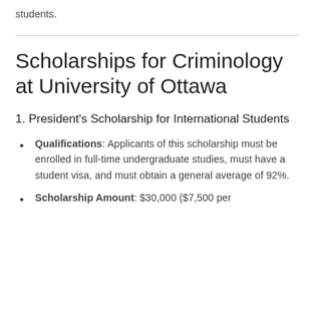students.
Scholarships for Criminology at University of Ottawa
1. President's Scholarship for International Students
Qualifications: Applicants of this scholarship must be enrolled in full-time undergraduate studies, must have a student visa, and must obtain a general average of 92%.
Scholarship Amount: $30,000 ($7,500 per